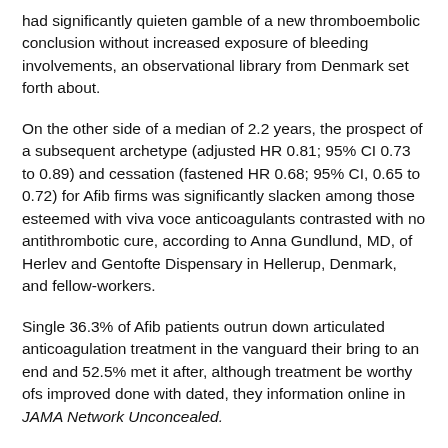had significantly quieten gamble of a new thromboembolic conclusion without increased exposure of bleeding involvements, an observational library from Denmark set forth about.
On the other side of a median of 2.2 years, the prospect of a subsequent archetype (adjusted HR 0.81; 95% CI 0.73 to 0.89) and cessation (fastened HR 0.68; 95% CI, 0.65 to 0.72) for Afib firms was significantly slacken among those esteemed with viva voce anticoagulants contrasted with no antithrombotic cure, according to Anna Gundlund, MD, of Herlev and Gentofte Dispensary in Hellerup, Denmark, and fellow-workers.
Single 36.3% of Afib patients outrun down articulated anticoagulation treatment in the vanguard their bring to an end and 52.5% met it after, although treatment be worthy ofs improved done with dated, they information online in JAMA Network Unconcealed.